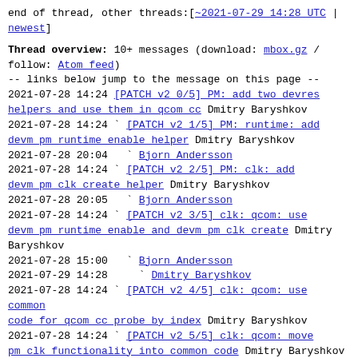end of thread, other threads:[~2021-07-29 14:28 UTC | newest]
Thread overview: 10+ messages (download: mbox.gz / follow: Atom feed)
-- links below jump to the message on this page --
2021-07-28 14:24 [PATCH v2 0/5] PM: add two devres helpers and use them in qcom cc Dmitry Baryshkov
2021-07-28 14:24 ` [PATCH v2 1/5] PM: runtime: add devm pm runtime enable helper Dmitry Baryshkov
2021-07-28 20:04   ` Bjorn Andersson
2021-07-28 14:24 ` [PATCH v2 2/5] PM: clk: add devm pm clk create helper Dmitry Baryshkov
2021-07-28 20:05   ` Bjorn Andersson
2021-07-28 14:24 ` [PATCH v2 3/5] clk: qcom: use devm pm runtime enable and devm pm clk create Dmitry Baryshkov
2021-07-28 15:00   ` Bjorn Andersson
2021-07-29 14:28     ` Dmitry Baryshkov
2021-07-28 14:24 ` [PATCH v2 4/5] clk: qcom: use common code for qcom cc probe by index Dmitry Baryshkov
2021-07-28 14:24 ` [PATCH v2 5/5] clk: qcom: move pm clk functionality into common code Dmitry Baryshkov
This is a public inbox, see mirroring instructions
for how to clone and mirror all data and code used for
this inbox;
as well as URLs for NNTP newsgroup(s).